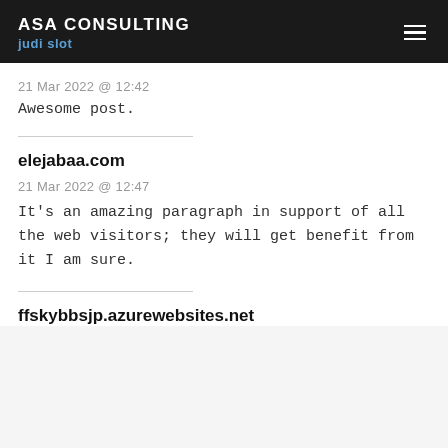ASA CONSULTING judi slot
21 Mar 2022 @ 12:42
Awesome post.
elejabaa.com
21 Mar 2022 @ 12:47
It's an amazing paragraph in support of all the web visitors; they will get benefit from it I am sure.
ffskybbsjp.azurewebsites.net